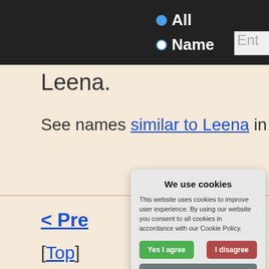[Figure (screenshot): Dark navigation header bar with radio buttons 'All' (selected, blue filled) and 'Name', plus a partial text input box showing 'Ent']
Leena.
See names similar to Leena in meani
< Pre
[Top]
We use cookies
This website uses cookies to improve user experience. By using our website you consent to all cookies in accordance with our Cookie Policy.
Yes I agree | I disagree
Read more
Free cookie consent by cookie-script.com